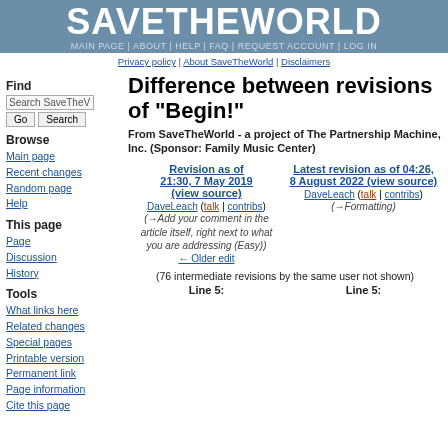SAVETHEWORLD
MAIN PAGE | ABOUT | HELP | FAQ | REQUEST ACCOUNT | LOG IN
Privacy policy | About SaveTheWorld | Disclaimers
Difference between revisions of "Begin!"
From SaveTheWorld - a project of The Partnership Machine, Inc. (Sponsor: Family Music Center)
| Revision as of 21:30, 7 May 2019 (view source) | Latest revision as of 04:26, 8 August 2022 (view source) |
| --- | --- |
| DaveLeach (talk | contribs) | DaveLeach (talk | contribs) |
| (→Add your comment in the article itself, right next to what you are addressing (Easy)) | (→Formatting) |
| ← Older edit |  |
(76 intermediate revisions by the same user not shown)
Line 5:
Line 5:
Find
Browse
Main page
Recent changes
Random page
Help
This page
Page
Discussion
History
Tools
What links here
Related changes
Special pages
Printable version
Permanent link
Page information
Cite this page